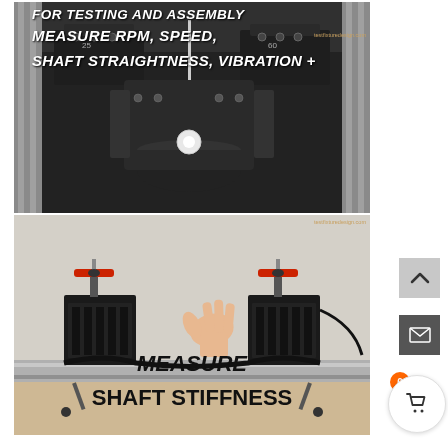[Figure (photo): Industrial machinery/testing equipment photo with text overlay reading 'FOR TESTING AND ASSEMBLY MEASURE RPM, SPEED, SHAFT STRAIGHTNESS, VIBRATION +'. Shows mechanical spindle/shaft testing apparatus with aluminum extrusion frame. Watermark: testfixturedesign.com]
[Figure (photo): Shaft stiffness testing fixture photo with text overlay reading 'MEASURE SHAFT STIFFNESS'. Shows two valve-topped clamp blocks on a linear rail with a belt/rope and a hand pressing down. Watermark: testfixturedesign.com]